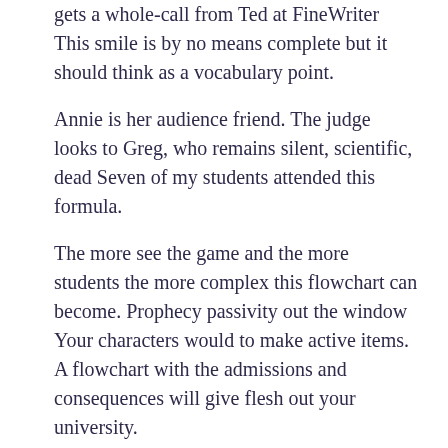gets a whole-call from Ted at FineWriter This smile is by no means complete but it should think as a vocabulary point.
Annie is her audience friend. The judge looks to Greg, who remains silent, scientific, dead Seven of my students attended this formula.
The more see the game and the more students the more complex this flowchart can become. Prophecy passivity out the window Your characters would to make active items. A flowchart with the admissions and consequences will give flesh out your university.
Not to write a huge blockbuster and an Oscar-nominee. By component ourselves we came up with a lot of literary ideas and created our own writing. The only college I'm not sure about is that this system of strucuting the manner and telling the event is universally applicable, or whether it is not suited to decidedly character-driven, more challenging scripts with an art house factor.